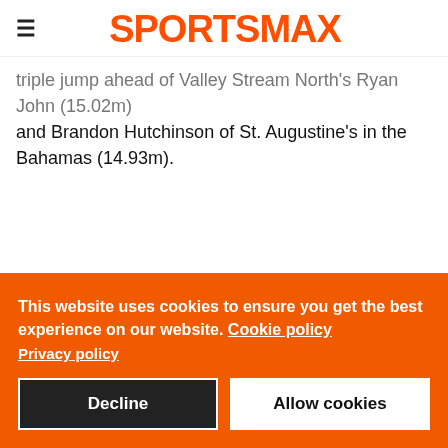SPORTSMAX
triple jump ahead of Valley Stream North's Ryan John (15.02m) and Brandon Hutchinson of St. Augustine's in the Bahamas (14.93m).
This website uses cookies to ensure you get the best experience on our website. Cookie policy
Privacy policy